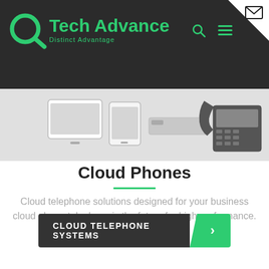[Figure (logo): Tech Advance logo with green Q icon and 'Distinct Advantage' tagline on dark header bar with navigation icons]
[Figure (photo): Product image strip showing tablet, smartphone, wireless hub and desktop IP phone devices on grey background]
Cloud Phones
Cloud telephone solutions designed for your business cloud phone telephony is the future for high performance.
[Figure (other): Dark grey CTA button labeled CLOUD TELEPHONE SYSTEMS with green arrow chevron tab on the right]